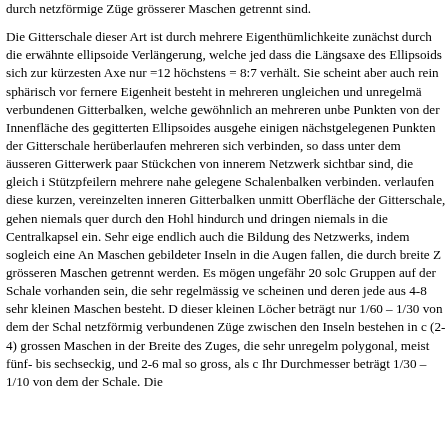durch netzförmige Züge grösserer Maschen getrennt sind. Die Gitterschale dieser Art ist durch mehrere Eigenthümlichkeiten ausgezeichnet, zunächst durch die erwähnte ellipsoide Verlängerung, welche jedoch so gering ist, dass die Längsaxe des Ellipsoids sich zur kürzesten Axe nur =12:11, höchstens = 8:7 verhält. Sie scheint aber auch rein sphärisch vor; eine fernere Eigenheit besteht in mehreren ungleichen und unregelmässig verbundenen Gitterbalken, welche gewöhnlich an mehreren unbestimmten Punkten von der Innenfläche des gegitterten Ellipsoides ausgehen und zu einigen nächstgelegenen Punkten der Gitterschale herüberlaufen, sich mit mehreren sich verbinden, so dass unter dem äusseren Gitterwerk immer ein paar Stückchen von innerem Netzwerk sichtbar sind, die gleich inneren Stützpfeilern mehrere nahe gelegene Schalenbalken verbinden. Diese verlaufen diese kurzen, vereinzelten inneren Gitterbalken unmittelbar an der Oberfläche der Gitterschale, gehen niemals quer durch den Hohlraum hindurch und dringen niemals in die Centralkapsel ein. Sehr eigenartig ist endlich auch die Bildung des Netzwerks, indem sogleich eine Anzahl feiner Maschen gebildeter Inseln in die Augen fallen, die durch breite Züge von grösseren Maschen getrennt werden. Es mögen ungefähr 20 solcher Gruppen auf der Schale vorhanden sein, die sehr regelmässig vertheilt zu scheinen und deren jede aus 4-8 sehr kleinen Maschen besteht. Der Durchmesser dieser kleinen Löcher beträgt nur 1/60 – 1/30 von dem der Schale. Die netzförmig verbundenen Züge zwischen den Inseln bestehen in der Regel aus (2-4) grossen Maschen in der Breite des Zuges, die sehr unregelmässig polygonal, meist fünf- bis sechseckig, und 2-6 mal so gross, als die der Inseln. Ihr Durchmesser beträgt 1/30 – 1/10 von dem der Schale. Die